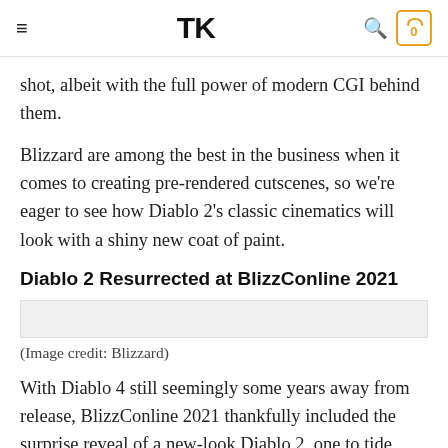≡  TK  🔍  0
shot, albeit with the full power of modern CGI behind them.
Blizzard are among the best in the business when it comes to creating pre-rendered cutscenes, so we're eager to see how Diablo 2's classic cinematics will look with a shiny new coat of paint.
Diablo 2 Resurrected at BlizzConline 2021
(Image credit: Blizzard)
With Diablo 4 still seemingly some years away from release, BlizzConline 2021 thankfully included the surprise reveal of a new-look Diablo 2, one to tide over long-time fans and bring